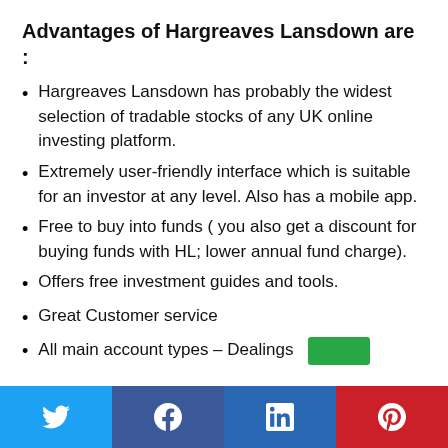Advantages of Hargreaves Lansdown are :
Hargreaves Lansdown has probably the widest selection of tradable stocks of any UK online investing platform.
Extremely user-friendly interface which is suitable for an investor at any level. Also has a mobile app.
Free to buy into funds ( you also get a discount for buying funds with HL; lower annual fund charge).
Offers free investment guides and tools.
Great Customer service
All main account types – Dealings